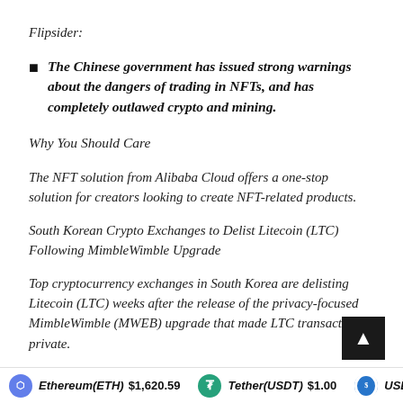Flipsider:
The Chinese government has issued strong warnings about the dangers of trading in NFTs, and has completely outlawed crypto and mining.
Why You Should Care
The NFT solution from Alibaba Cloud offers a one-stop solution for creators looking to create NFT-related products.
South Korean Crypto Exchanges to Delist Litecoin (LTC) Following MimbleWimble Upgrade
Top cryptocurrency exchanges in South Korea are delisting Litecoin (LTC) weeks after the release of the privacy-focused MimbleWimble (MWEB) upgrade that made LTC transactions private.
Ethereum(ETH) $1,620.59   Tether(USDT) $1.00   USD Coin